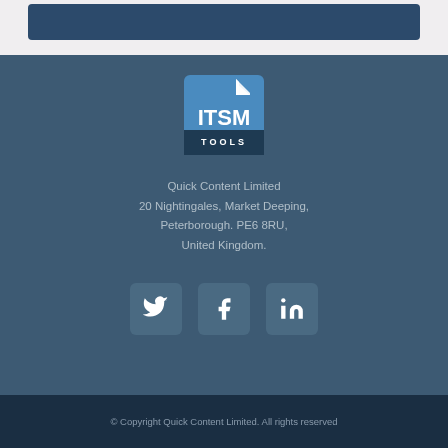[Figure (logo): ITSM Tools logo - blue square with white checkmark/document icon, ITSM in large white text, TOOLS in smaller white text on dark blue bar]
Quick Content Limited
20 Nightingales, Market Deeping,
Peterborough. PE6 8RU,
United Kingdom.
[Figure (other): Three social media icons: Twitter bird, Facebook f, LinkedIn in - each in a rounded square button]
© Copyright Quick Content Limited. All rights reserved